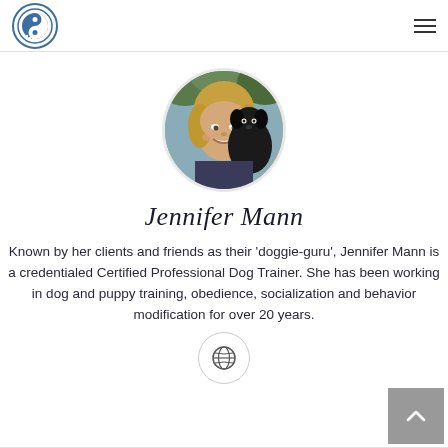LA School for Dogs logo and navigation
[Figure (photo): Circular profile photo of Jennifer Mann, a woman with blonde hair smiling and holding a black puppy]
Jennifer Mann
Known by her clients and friends as their 'doggie-guru', Jennifer Mann is a credentialed Certified Professional Dog Trainer. She has been working in dog and puppy training, obedience, socialization and behavior modification for over 20 years.
[Figure (other): Globe/website icon button in a circular border]
[Figure (other): Scroll to top button (upward arrow) in grey square]